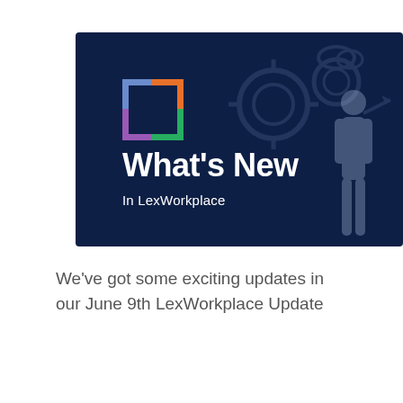[Figure (illustration): Dark navy banner with LexWorkplace logo (four colored corner brackets: blue top-left, orange top-right, purple bottom-left, green bottom-right), large white text 'What's New' and subtitle 'In LexWorkplace', with faint silhouette of a person and abstract background icons.]
We've got some exciting updates in our June 9th LexWorkplace Update